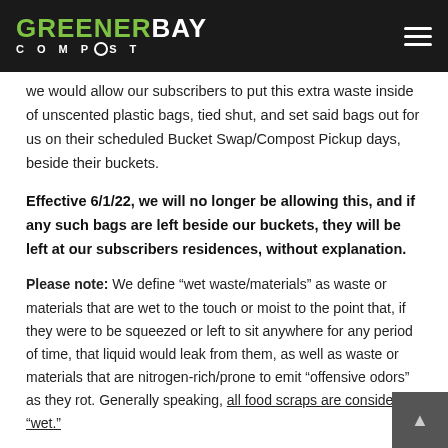GREENER BAY COMPOST
we would allow our subscribers to put this extra waste inside of unscented plastic bags, tied shut, and set said bags out for us on their scheduled Bucket Swap/Compost Pickup days, beside their buckets.
Effective 6/1/22, we will no longer be allowing this, and if any such bags are left beside our buckets, they will be left at our subscribers residences, without explanation.
Please note: We define “wet waste/materials” as waste or materials that are wet to the touch or moist to the point that, if they were to be squeezed or left to sit anywhere for any period of time, that liquid would leak from them, as well as waste or materials that are nitrogen-rich/prone to emit “offensive odors” as they rot. Generally speaking, all food scraps are considered “wet.”